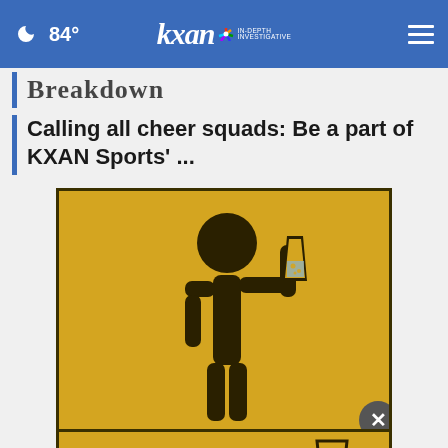84° | KXAN IN-DEPTH INVESTIGATIVE
Breakdown
Calling all cheer squads: Be a part of KXAN Sports' ...
[Figure (infographic): Stick figure person holding up a glass of water on a golden/amber background. The infographic illustrates the concept of chugging water.]
CHUGGING WATER